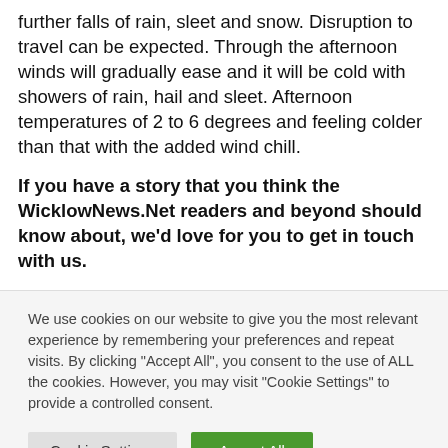further falls of rain, sleet and snow. Disruption to travel can be expected. Through the afternoon winds will gradually ease and it will be cold with showers of rain, hail and sleet. Afternoon temperatures of 2 to 6 degrees and feeling colder than that with the added wind chill.
If you have a story that you think the WicklowNews.Net readers and beyond should know about, we'd love for you to get in touch with us.
We use cookies on our website to give you the most relevant experience by remembering your preferences and repeat visits. By clicking "Accept All", you consent to the use of ALL the cookies. However, you may visit "Cookie Settings" to provide a controlled consent.